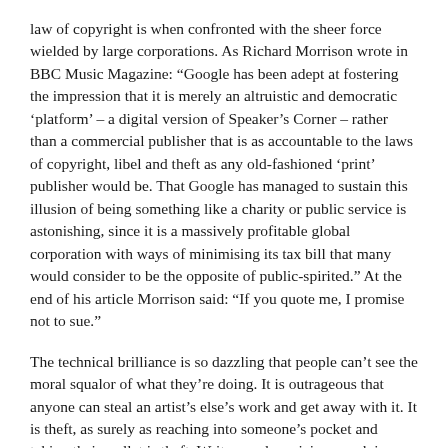law of copyright is when confronted with the sheer force wielded by large corporations. As Richard Morrison wrote in BBC Music Magazine: “Google has been adept at fostering the impression that it is merely an altruistic and democratic ‘platform’ – a digital version of Speaker’s Corner – rather than a commercial publisher that is as accountable to the laws of copyright, libel and theft as any old-fashioned ‘print’ publisher would be. That Google has managed to sustain this illusion of being something like a charity or public service is astonishing, since it is a massively profitable global corporation with ways of minimising its tax bill that many would consider to be the opposite of public-spirited.” At the end of his article Morrison said: “If you quote me, I promise not to sue.”
The technical brilliance is so dazzling that people can’t see the moral squalor of what they’re doing. It is outrageous that anyone can steal an artist’s else’s work and get away with it. It is theft, as surely as reaching into someone’s pocket and taking their wallet is theft. Writers and musicians work in poverty and obscurity for years in order to bring their work to a pitch of skill and imaginative depth that gives delight to their audiences, and as soon as they achieve that, the possibility of making a living from it is taken away from them. There are